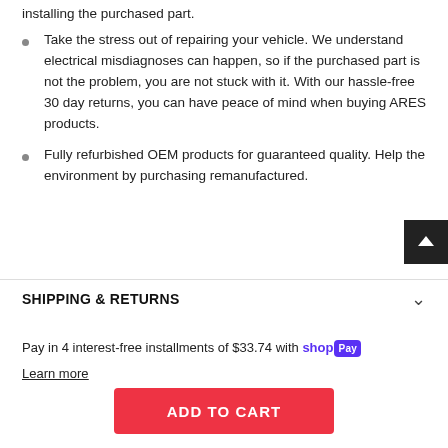installing the purchased part.
Take the stress out of repairing your vehicle. We understand electrical misdiagnoses can happen, so if the purchased part is not the problem, you are not stuck with it. With our hassle-free 30 day returns, you can have peace of mind when buying ARES products.
Fully refurbished OEM products for guaranteed quality. Help the environment by purchasing remanufactured.
SHIPPING & RETURNS
Pay in 4 interest-free installments of $33.74 with shop Pay
Learn more
ADD TO CART